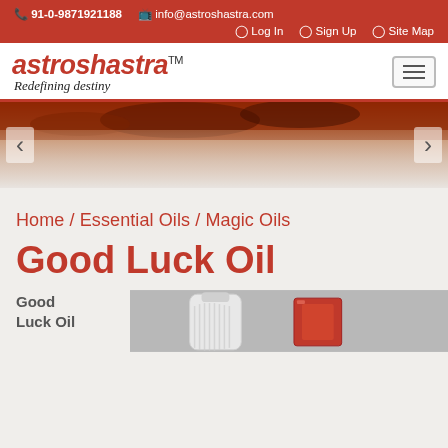📞 91-0-9871921188  🔲 info@astroshastra.com  🔑 Log In  🔑 Sign Up  🗺 Site Map
[Figure (logo): Astroshastra logo with italic red text 'astroshastra™' and tagline 'Redefining destiny']
[Figure (photo): Webpage carousel/slider with dark reddish-brown spice background image and left/right navigation arrows]
Home / Essential Oils / Magic Oils
Good Luck Oil
Good Luck Oil